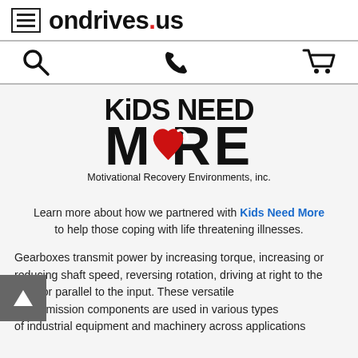ondrives.us
[Figure (screenshot): Navigation icons: search (magnifying glass), phone, and shopping cart]
[Figure (logo): Kids Need MORE - Motivational Recovery Environments, inc. logo with red heart]
Learn more about how we partnered with Kids Need More to help those coping with life threatening illnesses.
Gearboxes transmit power by increasing torque, increasing or reducing shaft speed, reversing rotation, driving at right to the input or parallel to the input. These versatile transmission components are used in various types of industrial equipment and machinery across applications